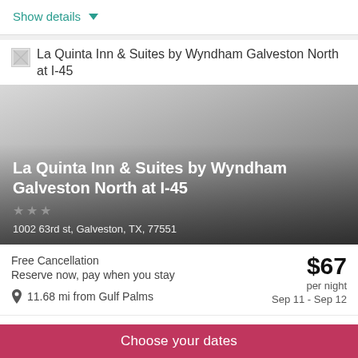Show details ∨
La Quinta Inn & Suites by Wyndham Galveston North at I-45
[Figure (photo): Hotel exterior photo with gradient overlay showing hotel name, star rating, and address]
Free Cancellation
Reserve now, pay when you stay
11.68 mi from Gulf Palms
$67 per night
Sep 11 - Sep 12
Show details ∨
Hilton Galveston Island Resort
Choose your dates